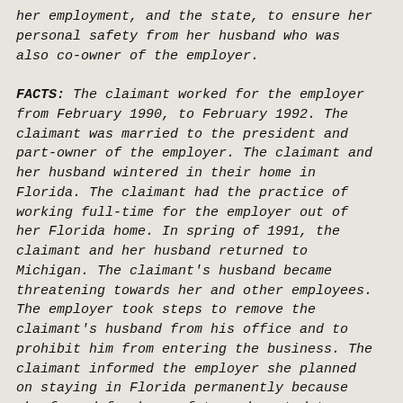her employment, and the state, to ensure her personal safety from her husband who was also co-owner of the employer.

FACTS: The claimant worked for the employer from February 1990, to February 1992. The claimant was married to the president and part-owner of the employer. The claimant and her husband wintered in their home in Florida. The claimant had the practice of working full-time for the employer out of her Florida home. In spring of 1991, the claimant and her husband returned to Michigan. The claimant's husband became threatening towards her and other employees. The employer took steps to remove the claimant's husband from his office and to prohibit him from entering the business. The claimant informed the employer she planned on staying in Florida permanently because she feared for her safety and wanted to avoid her husband. Her husband hit her at work, threatened her, closed their joint checking account, changed the locks on their Michigan residence, and confiscated her car